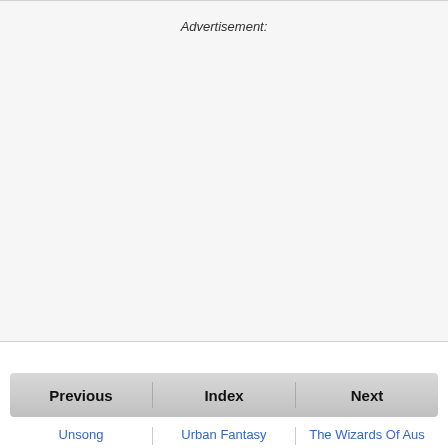Advertisement:
Previous  Index  Next
Unsong  Urban Fantasy  The Wizards Of Aus